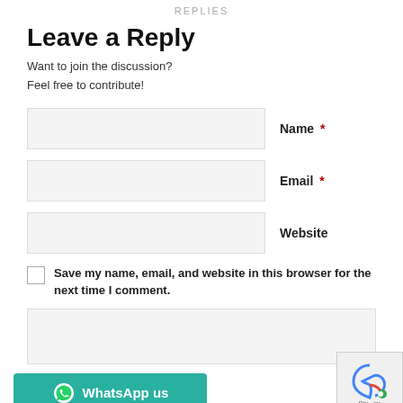REPLIES
Leave a Reply
Want to join the discussion?
Feel free to contribute!
Name *
Email *
Website
Save my name, email, and website in this browser for the next time I comment.
[Figure (screenshot): Comment textarea input box]
[Figure (screenshot): WhatsApp us button and reCAPTCHA badge]